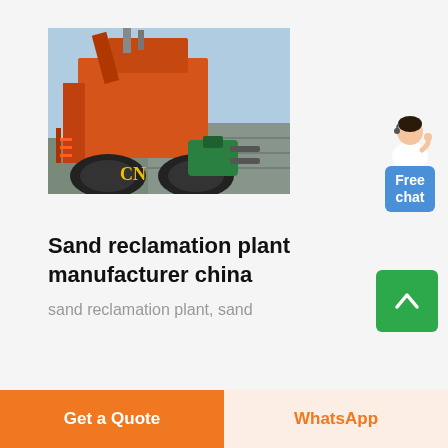[Figure (photo): Industrial sand reclamation plant machinery in orange/red color with large tires and green pump components, branded with CN logo, photographed outdoors]
[Figure (illustration): Customer service avatar - woman in white shirt with headset, gesturing with hand]
Free chat
Sand reclamation plant manufacturer china
sand reclamation plant, sand
Get a Quote
WhatsApp